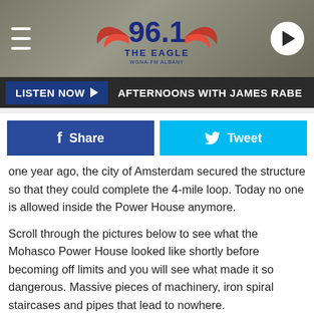[Figure (screenshot): 96.1 The Eagle radio station header banner with hamburger menu, logo with wings, and play button]
LISTEN NOW ▶   AFTERNOONS WITH JAMES RABE
[Figure (infographic): Facebook Share and Twitter Tweet social sharing buttons]
one year ago, the city of Amsterdam secured the structure so that they could complete the 4-mile loop. Today no one is allowed inside the Power House anymore.
Scroll through the pictures below to see what the Mohasco Power House looked like shortly before becoming off limits and you will see what made it so dangerous. Massive pieces of machinery, iron spiral staircases and pipes that lead to nowhere.
WARNING: Under no circumstances should you enter this property. By doing so you risk bodily harm and/or